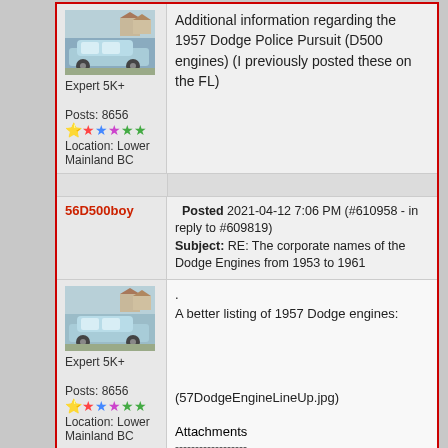Additional information regarding the 1957 Dodge Police Pursuit (D500 engines) (I previously posted these on the FL)
[Figure (photo): Blue 1957 Dodge car parked in front of houses]
Expert 5K+
Posts: 8656
Location: Lower Mainland BC
Posted 2021-04-12 7:06 PM (#610958 - in reply to #609819)
Subject: RE: The corporate names of the Dodge Engines from 1953 to 1961
56D500boy
[Figure (photo): Blue 1957 Dodge car parked in front of houses]
Expert 5K+
Posts: 8656
Location: Lower Mainland BC
.
A better listing of 1957 Dodge engines:
(57DodgeEngineLineUp.jpg)
Attachments
------------------
57DodgeEngineLineUp.jpg (241KB - 135 downloads)